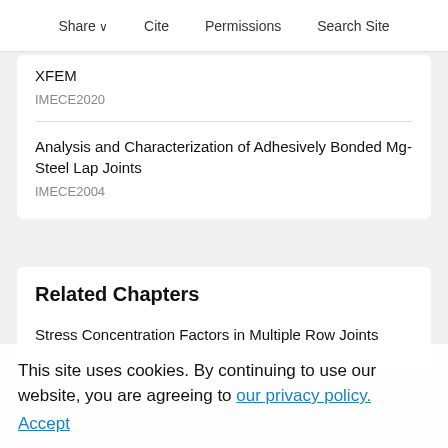Share  Cite  Permissions  Search Site
XFEM
IMECE2020
Analysis and Characterization of Adhesively Bonded Mg-Steel Lap Joints
IMECE2004
Related Chapters
Stress Concentration Factors in Multiple Row Joints
This site uses cookies. By continuing to use our website, you are agreeing to our privacy policy.
Accept